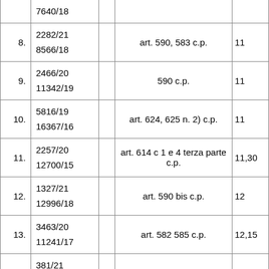|  | Case Numbers |  | Article | Score |
| --- | --- | --- | --- | --- |
|  | 7640/18 |  |  |  |
| 8. | 2282/21
8566/18 |  | art. 590, 583 c.p. | 11 |
| 9. | 2466/20
11342/19 |  | 590 c.p. | 11 |
| 10. | 5816/19
16367/16 |  | art. 624, 625 n. 2) c.p. | 11 |
| 11. | 2257/20
12700/15 |  | art. 614 c 1 e 4 terza parte c.p. | 11,30 |
| 12. | 1327/21
12996/18 |  | art. 590 bis c.p. | 12 |
| 13. | 3463/20
11241/17 |  | art. 582 585 c.p. | 12,15 |
| 14. | 381/21
2430/17 |  | 612 c.p. | 12,40 |